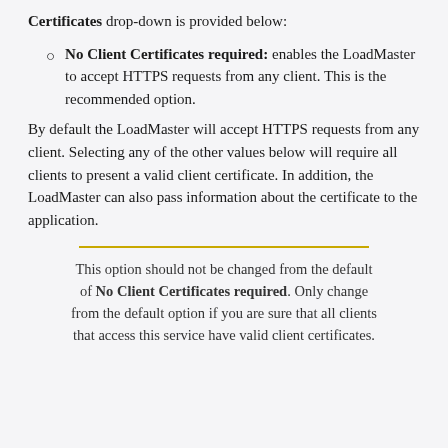Certificates drop-down is provided below:
No Client Certificates required: enables the LoadMaster to accept HTTPS requests from any client. This is the recommended option.
By default the LoadMaster will accept HTTPS requests from any client. Selecting any of the other values below will require all clients to present a valid client certificate. In addition, the LoadMaster can also pass information about the certificate to the application.
This option should not be changed from the default of No Client Certificates required. Only change from the default option if you are sure that all clients that access this service have valid client certificates.